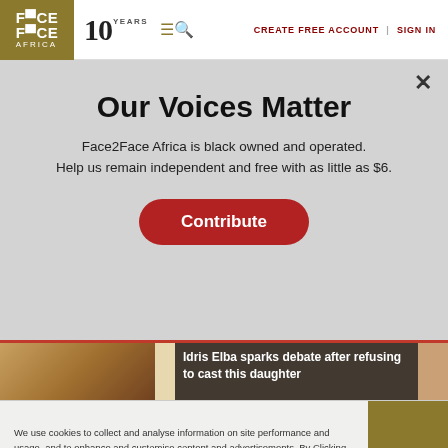FACE2FACE AFRICA | 10 YEARS | CREATE FREE ACCOUNT | SIGN IN
Our Voices Matter
Face2Face Africa is black owned and operated. Help us remain independent and free with as little as $6.
Contribute
[Figure (photo): Partial photo of a person with braided/curly hair, partially obscured by article headline overlay]
Idris Elba sparks debate after refusing to cast this daughter
We use cookies to collect and analyse information on site performance and usage, and to enhance and customise content and advertisements. By Clicking "Accept" or by clicking into any content on this site, you agree to allow cookies to be placed. To find out more, read our privacy policy.
ACCEPT